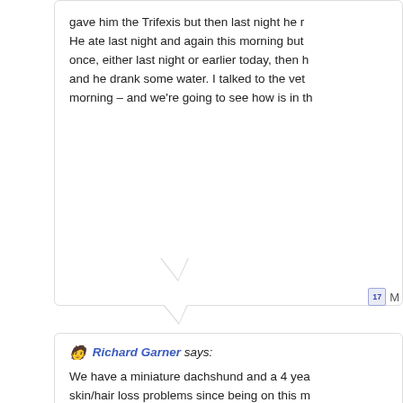gave him the Trifexis but then last night he r... He ate last night and again this morning but once, either last night or earlier today, then he and he drank some water. I talked to the vet morning – and we're going to see how is in th...
Richard Garner says: We have a miniature dachshund and a 4 yea skin/hair loss problems since being on this m coming off as big as quarters or larger. After special non-gluten food (vet thought that wa glad I saw this website and the comments pe NEVER be in our house again and all our frie...